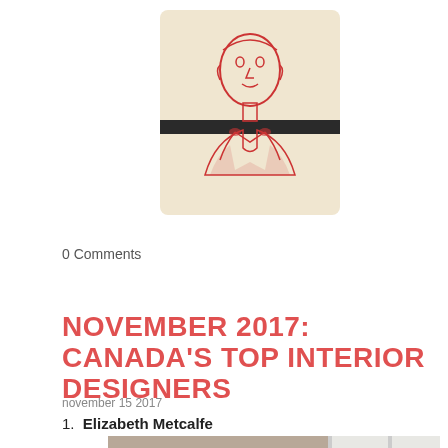[Figure (illustration): A notebook or card with a red ink illustration of a person's portrait (head and upper body with red jacket/bow tie), with a dark elastic band across the middle of the notebook cover. The cover has a light tan/cream background.]
0 Comments
NOVEMBER 2017: CANADA'S TOP INTERIOR DESIGNERS
november 15 2017
1. Elizabeth Metcalfe
[Figure (photo): A photograph of an interior design scene showing a large cylindrical lampshade or ottoman in beige/cream color, with dark decorative vase/object on the left and bright windows visible on the right side.]